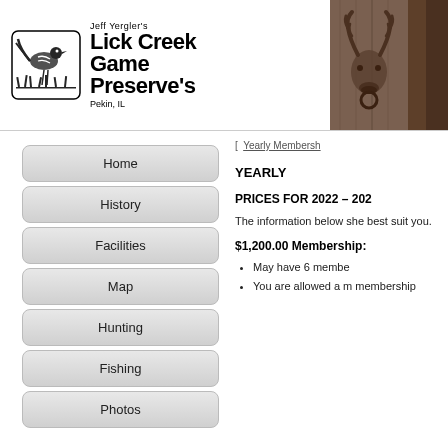[Figure (logo): Jeff Yergler's Lick Creek Game Preserve's logo with bird illustration in circle, text reads: Jeff Yergler's, Lick Creek, Game, Preserve's, Pekin, IL]
[Figure (photo): Sepia-toned photo of a deer head mount with antlers on a wooden background]
[Figure (photo): Partial photo, dark brown tones, cropped at right edge]
Home
History
Facilities
Map
Hunting
Fishing
Photos
[ Yearly Membership
YEARLY
PRICES FOR 2022 – 202
The information below she best suit you.
$1,200.00 Membership:
May have 6 membe
You are allowed a m membership